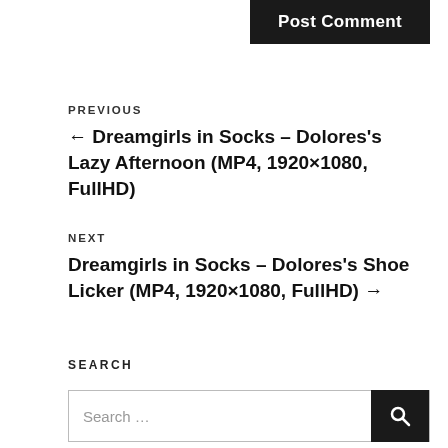Post Comment
PREVIOUS
← Dreamgirls in Socks – Dolores's Lazy Afternoon (MP4, 1920×1080, FullHD)
NEXT
Dreamgirls in Socks – Dolores's Shoe Licker (MP4, 1920×1080, FullHD) →
SEARCH
Search …